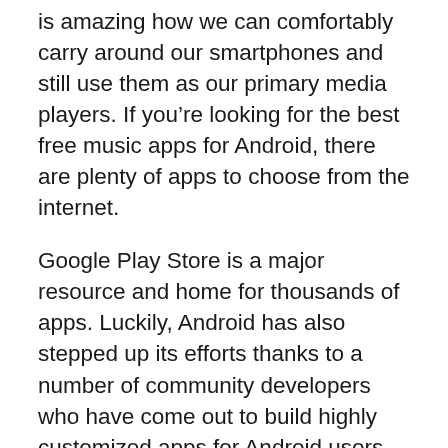is amazing how we can comfortably carry around our smartphones and still use them as our primary media players. If you’re looking for the best free music apps for Android, there are plenty of apps to choose from the internet.
Google Play Store is a major resource and home for thousands of apps. Luckily, Android has also stepped up its efforts thanks to a number of community developers who have come out to build highly customized apps for Android users. Before the introduction of apps, music listeners had a hectic time transferring music files from a laptop or PC to the phone.
Using the best free music player for Android